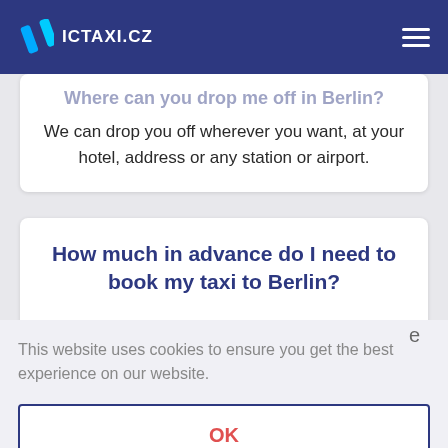ICTAXI.CZ
Where can you drop me off in Berlin?
We can drop you off wherever you want, at your hotel, address or any station or airport.
How much in advance do I need to book my taxi to Berlin?
This website uses cookies to ensure you get the best experience on our website.
OK